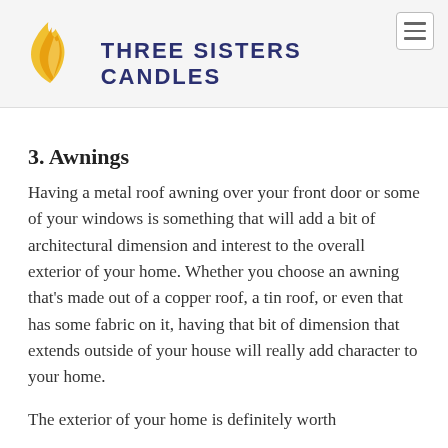THREE SISTERS CANDLES
3. Awnings
Having a metal roof awning over your front door or some of your windows is something that will add a bit of architectural dimension and interest to the overall exterior of your home. Whether you choose an awning that's made out of a copper roof, a tin roof, or even that has some fabric on it, having that bit of dimension that extends outside of your house will really add character to your home.
The exterior of your home is definitely worth